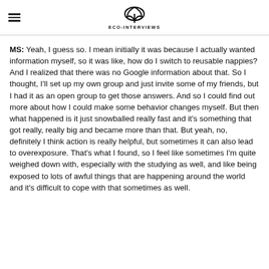THE ECO-INTERVIEWS
MS: Yeah, I guess so. I mean initially it was because I actually wanted information myself, so it was like, how do I switch to reusable nappies? And I realized that there was no Google information about that. So I thought, I'll set up my own group and just invite some of my friends, but I had it as an open group to get those answers. And so I could find out more about how I could make some behavior changes myself. But then what happened is it just snowballed really fast and it's something that got really, really big and became more than that. But yeah, no, definitely I think action is really helpful, but sometimes it can also lead to overexposure. That's what I found, so I feel like sometimes I'm quite weighed down with, especially with the studying as well, and like being exposed to lots of awful things that are happening around the world and it's difficult to cope with that sometimes as well.